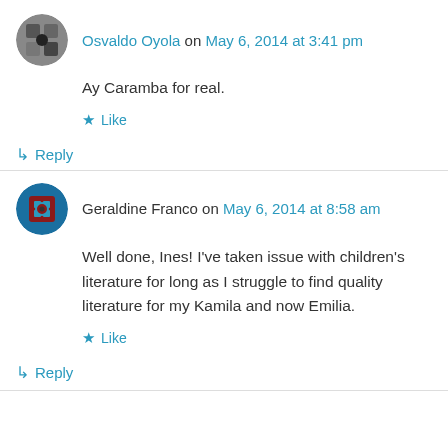Osvaldo Oyola on May 6, 2014 at 3:41 pm
Ay Caramba for real.
Like
Reply
Geraldine Franco on May 6, 2014 at 8:58 am
Well done, Ines! I've taken issue with children's literature for long as I struggle to find quality literature for my Kamila and now Emilia.
Like
Reply